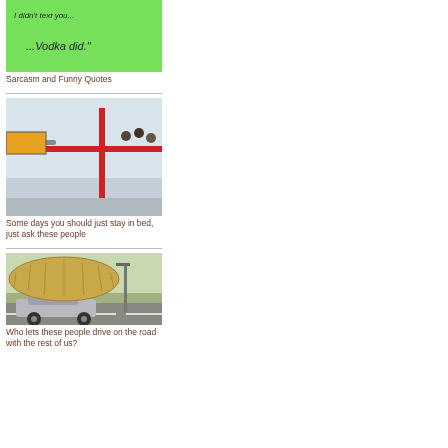[Figure (photo): Green background image with handwritten text: I didn't text you... ...Vodka did.]
Sarcasm and Funny Quotes
[Figure (photo): Photo of people on a carnival ride stuck at the top, with a crane nearby]
Some days you should just stay in bed, just ask these people
[Figure (photo): Photo of a car on a highway with an enormous bale of hay strapped on top]
Who lets these people drive on the road with the rest of us?